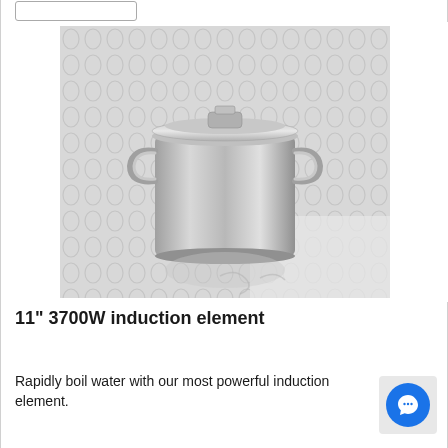[Figure (photo): A large stainless steel stock pot with lid and two handles, sitting on a reflective surface against a white hexagonal tile background. The pot is polished silver/chrome finish.]
11" 3700W induction element
Rapidly boil water with our most powerful induction element.